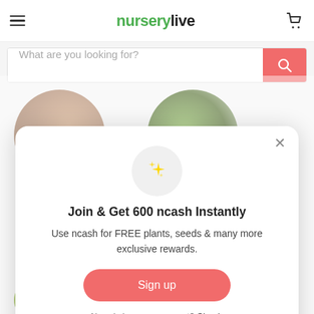nurserylive
What are you looking for?
[Figure (screenshot): Website screenshot of nurserylive.com with a popup modal over product category circles]
Join & Get 600 ncash Instantly
Use ncash for FREE plants, seeds & many more exclusive rewards.
Sign up
Already have an account? Sign in